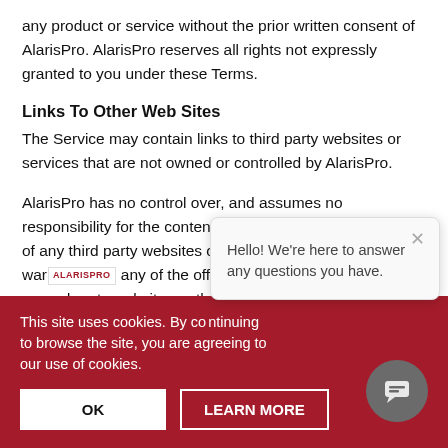any product or service without the prior written consent of AlarisPro. AlarisPro reserves all rights not expressly granted to you under these Terms.
Links To Other Web Sites
The Service may contain links to third party websites or services that are not owned or controlled by AlarisPro.
AlarisPro has no control over, and assumes no responsibility for the content, privacy policies, or practices of any third party websites or services. AlarisPro does not warrant any of the offerings of any of these third party websites or their websites.
[Figure (screenshot): Chat popup overlay with close X button and text: Hello! We're here to answer any questions you have. Below is a chat icon button (dark grey circle with chat icon). Also shows AlarisPro logo watermark.]
This site uses cookies. By continuing to browse the site, you are agreeing to our use of cookies.
OK   LEARN MORE